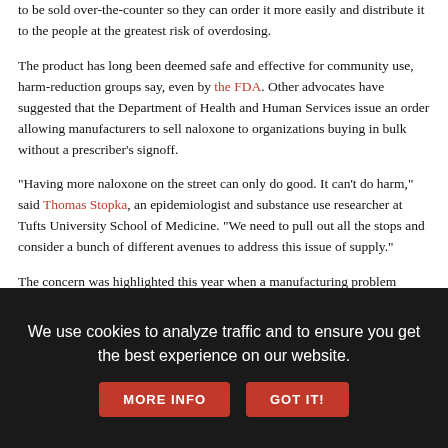to be sold over-the-counter so they can order it more easily and distribute it to the people at the greatest risk of overdosing.
The product has long been deemed safe and effective for community use, harm-reduction groups say, even by the FDA. Other advocates have suggested that the Department of Health and Human Services issue an order allowing manufacturers to sell naloxone to organizations buying in bulk without a prescriber's signoff.
"Having more naloxone on the street can only do good. It can't do harm," said Thomas Stopka, an epidemiologist and substance use researcher at Tufts University School of Medicine. "We need to pull out all the stops and consider a bunch of different avenues to address this issue of supply."
The concern was highlighted this year when a manufacturing problem depleted Pfizer's stock of naloxone and the company couldn't fill orders for harm-reduction groups. Hikma, another company that makes naloxone, offered to donate 50,000 injectable doses to the affected groups. But because of naloxone's
We use cookies to analyze traffic and to ensure you get the best experience on our website.
MORE INFO
GOT IT!